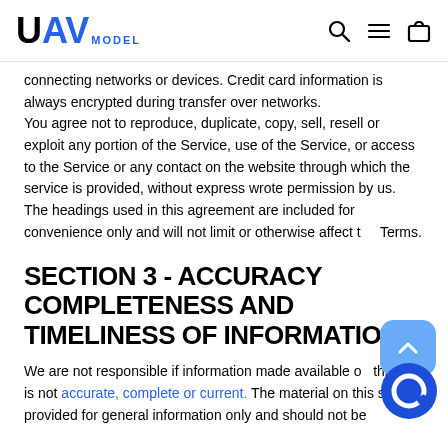UAV MODEL
connecting networks or devices. Credit card information is always encrypted during transfer over networks.
You agree not to reproduce, duplicate, copy, sell, resell or exploit any portion of the Service, use of the Service, or access to the Service or any contact on the website through which the service is provided, without express wrote permission by us.
The headings used in this agreement are included for convenience only and will not limit or otherwise affect the Terms.
SECTION 3 - ACCURACY COMPLETENESS AND TIMELINESS OF INFORMATION
We are not responsible if information made available on this site is not accurate, complete or current. The material on this site is provided for general information only and should not be